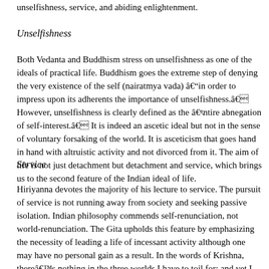unselfishness, service, and abiding enlightenment.
Unselfishness
Both Vedanta and Buddhism stress on unselfishness as one of the ideals of practical life. Buddhism goes the extreme step of denying the very existence of the self (nairatmya vada) âin order to impress upon its adherents the importance of unselfishness.â However, unselfishness is clearly defined as the âentire abnegation of self-interest.â It is indeed an ascetic ideal but not in the sense of voluntary forsaking of the world. It is asceticism that goes hand in hand with altruistic activity and not divorced from it. The aim of life is not just detachment but detachment and service, which brings us to the second feature of the Indian ideal of life.
Service
Hiriyanna devotes the majority of his lecture to service. The pursuit of service is not running away from society and seeking passive isolation. Indian philosophy commends self-renunciation, not world-renunciation. The Gita upholds this feature by emphasizing the necessity of leading a life of incessant activity although one may have no personal gain as a result. In the words of Krishna, thereâs nothing in the three worlds I have to toil for; and yet I act.